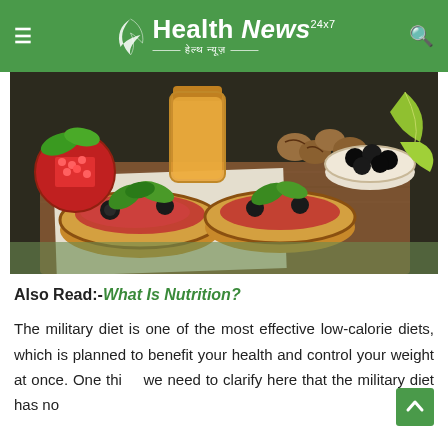Health News 24x7 — हेल्थ न्यूज़
[Figure (photo): Food photo showing bruschetta-style bread topped with cured meat, black olives, and fresh basil leaves, surrounded by pomegranate, walnuts, a glass jar of orange juice, a bowl of black olives, and lime wedges on a wooden cutting board.]
Also Read:-What Is Nutrition?
The military diet is one of the most effective low-calorie diets, which is planned to benefit your health and control your weight at once. One thi we need to clarify here that the military diet has no